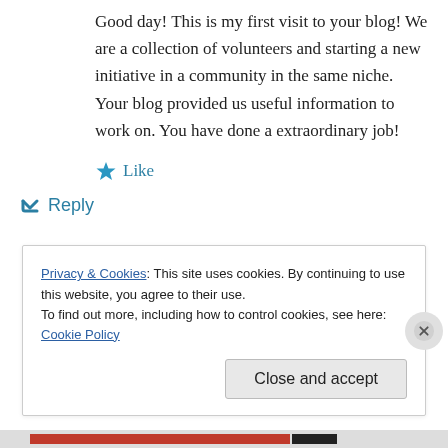Good day! This is my first visit to your blog! We are a collection of volunteers and starting a new initiative in a community in the same niche.
Your blog provided us useful information to work on. You have done a extraordinary job!
★ Like
↵ Reply
Privacy & Cookies: This site uses cookies. By continuing to use this website, you agree to their use.
To find out more, including how to control cookies, see here: Cookie Policy
Close and accept